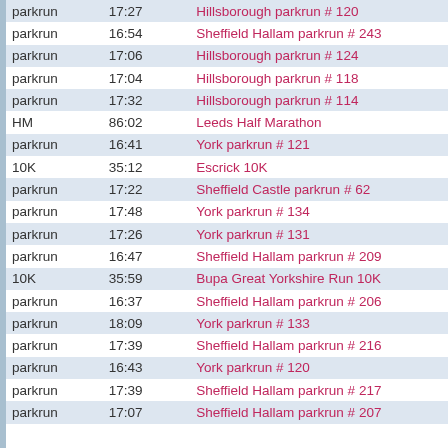| Type | Time | Event |
| --- | --- | --- |
| parkrun | 17:27 | Hillsborough parkrun # 120 |
| parkrun | 16:54 | Sheffield Hallam parkrun # 243 |
| parkrun | 17:06 | Hillsborough parkrun # 124 |
| parkrun | 17:04 | Hillsborough parkrun # 118 |
| parkrun | 17:32 | Hillsborough parkrun # 114 |
| HM | 86:02 | Leeds Half Marathon |
| parkrun | 16:41 | York parkrun # 121 |
| 10K | 35:12 | Escrick 10K |
| parkrun | 17:22 | Sheffield Castle parkrun # 62 |
| parkrun | 17:48 | York parkrun # 134 |
| parkrun | 17:26 | York parkrun # 131 |
| parkrun | 16:47 | Sheffield Hallam parkrun # 209 |
| 10K | 35:59 | Bupa Great Yorkshire Run 10K |
| parkrun | 16:37 | Sheffield Hallam parkrun # 206 |
| parkrun | 18:09 | York parkrun # 133 |
| parkrun | 17:39 | Sheffield Hallam parkrun # 216 |
| parkrun | 16:43 | York parkrun # 120 |
| parkrun | 17:39 | Sheffield Hallam parkrun # 217 |
| parkrun | 17:07 | Sheffield Hallam parkrun # 207 |